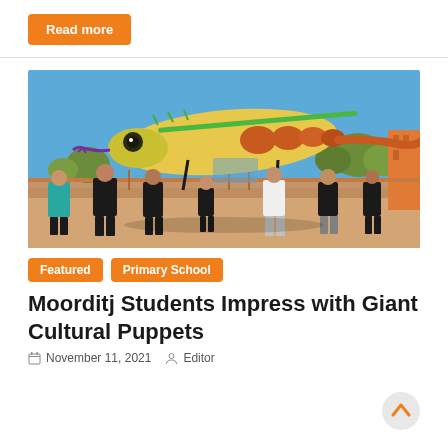Read more
[Figure (photo): Students marching with a large colorful lizard/goanna puppet decorated with Indigenous art patterns, in an outdoor paved area with playground equipment and trees in the background under a blue sky.]
Featured
Primary School
Moorditj Students Impress with Giant Cultural Puppets
November 11, 2021   Editor